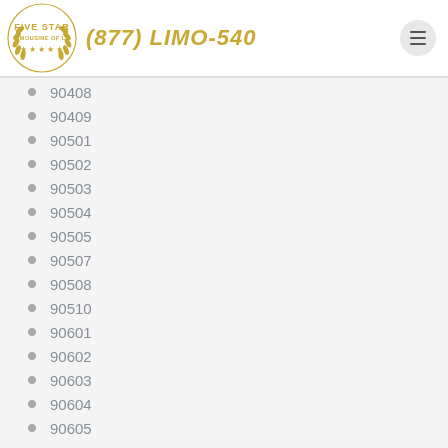[Figure (logo): Five Star Limousine of LA logo with laurel wreath and five stars]
(877) LIMO-540
90408
90409
90501
90502
90503
90504
90505
90507
90508
90510
90601
90602
90603
90604
90605
90606
90607